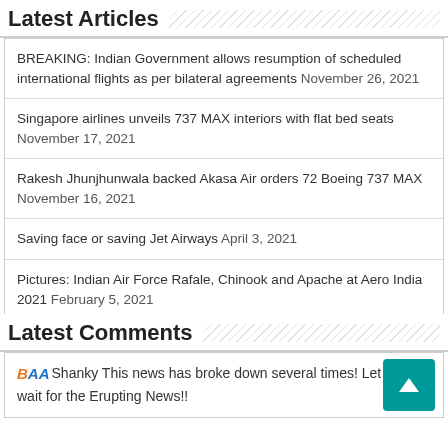Latest Articles
BREAKING: Indian Government allows resumption of scheduled international flights as per bilateral agreements November 26, 2021
Singapore airlines unveils 737 MAX interiors with flat bed seats November 17, 2021
Rakesh Jhunjhunwala backed Akasa Air orders 72 Boeing 737 MAX November 16, 2021
Saving face or saving Jet Airways April 3, 2021
Pictures: Indian Air Force Rafale, Chinook and Apache at Aero India 2021 February 5, 2021
Latest Comments
Shanky This news has broke down several times! Let us now wait for the Erupting News!!